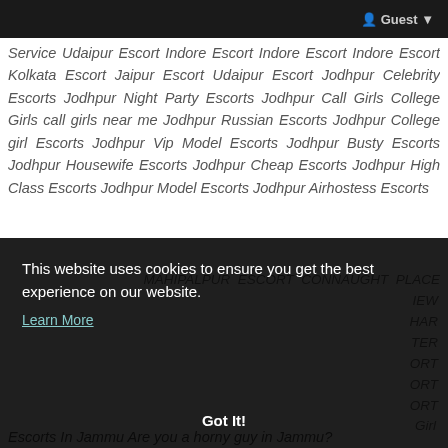Guest
Service Udaipur Escort Indore Escort Indore Escort Indore Escort Kolkata Escort Jaipur Escort Udaipur Escort Jodhpur Celebrity Escorts Jodhpur Night Party Escorts Jodhpur Call Girls College Girls call girls near me Jodhpur Russian Escorts Jodhpur College girl Escorts Jodhpur Vip Model Escorts Jodhpur Busty Escorts Jodhpur Housewife Escorts Jodhpur Cheap Escorts Jodhpur High Class Escorts Jodhpur Model Escorts Jodhpur Airhostess Escorts
MAHIPALPUR ESCORT CONNAUGHT PLACE ... NEW ... HAR ... TER ... ORT ... ORT ... ORT ... Girl Escorts In Jammu Are you a horny guy in Jammu?
This website uses cookies to ensure you get the best experience on our website.
Learn More
Got It!